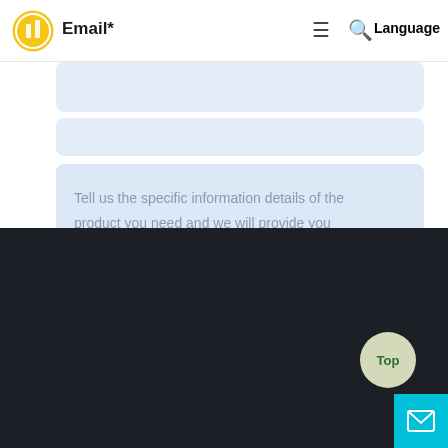Email* — ≡ 🔍 Language
[Figure (screenshot): Website contact form page showing a partially visible input field (email), a second input field, and a textarea with placeholder text 'Tell us the specific information details of the product you need and we will provide you'. Below is a dark footer with a 'Top' circular button and a blue email icon button.]
Tell us the specific information details of the product you need and we will provide you